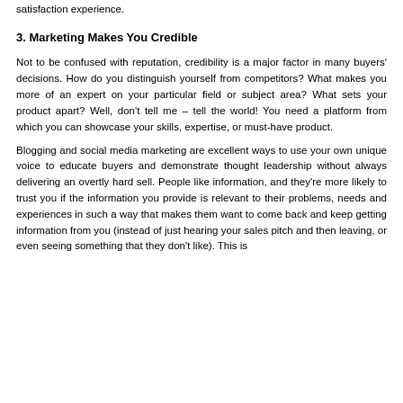satisfaction experience.
3. Marketing Makes You Credible
Not to be confused with reputation, credibility is a major factor in many buyers' decisions. How do you distinguish yourself from competitors? What makes you more of an expert on your particular field or subject area? What sets your product apart? Well, don't tell me – tell the world! You need a platform from which you can showcase your skills, expertise, or must-have product.
Blogging and social media marketing are excellent ways to use your own unique voice to educate buyers and demonstrate thought leadership without always delivering an overtly hard sell. People like information, and they're more likely to trust you if the information you provide is relevant to their problems, needs and experiences in such a way that makes them want to come back and keep getting information from you (instead of just hearing your sales pitch and then leaving, or even seeing something that they don't like). This is